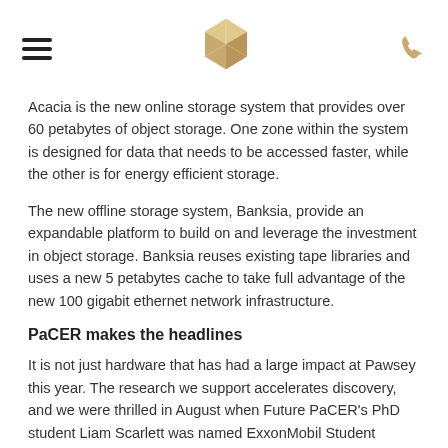[hamburger menu] [logo] [phone icon]
Acacia is the new online storage system that provides over 60 petabytes of object storage. One zone within the system is designed for data that needs to be accessed faster, while the other is for energy efficient storage.
The new offline storage system, Banksia, provide an expandable platform to build on and leverage the investment in object storage. Banksia reuses existing tape libraries and uses a new 5 petabytes cache to take full advantage of the new 100 gigabit ethernet network infrastructure.
PaCER makes the headlines
It is not just hardware that has had a large impact at Pawsey this year. The research we support accelerates discovery, and we were thrilled in August when Future PaCER's PhD student Liam Scarlett was named ExxonMobil Student Scientist of the Year.
Liam's work focused on the development of a theory and a suite of